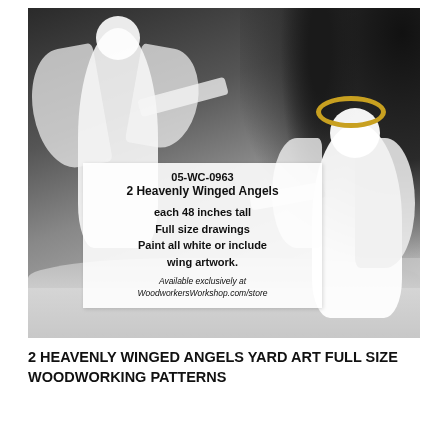[Figure (photo): Photograph of two white wooden angel yard art figures outdoors in snow with dark evergreen tree background. A white label/sign overlay in the center of the image shows product details: code 05-WC-0963, 2 Heavenly Winged Angels, each 48 inches tall, Full size drawings, Paint all white or include wing artwork. Available exclusively at WoodworkersWorkshop.com/store.]
2 HEAVENLY WINGED ANGELS YARD ART FULL SIZE WOODWORKING PATTERNS